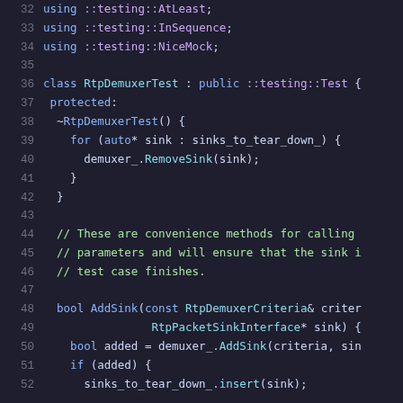Code listing lines 32-52: C++ source code for RtpDemuxerTest class
32  using ::testing::AtLeast;
33  using ::testing::InSequence;
34  using ::testing::NiceMock;
35
36  class RtpDemuxerTest : public ::testing::Test {
37   protected:
38    ~RtpDemuxerTest() {
39      for (auto* sink : sinks_to_tear_down_) {
40        demuxer_.RemoveSink(sink);
41      }
42    }
43
44    // These are convenience methods for calling
45    // parameters and will ensure that the sink i
46    // test case finishes.
47
48    bool AddSink(const RtpDemuxerCriteria& criter
49                 RtpPacketSinkInterface* sink) {
50      bool added = demuxer_.AddSink(criteria, sin
51      if (added) {
52        sinks_to_tear_down_.insert(sink);